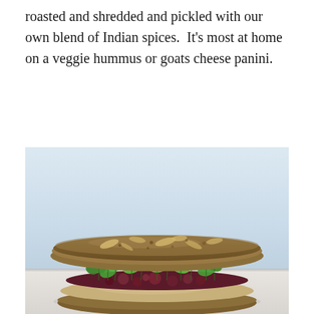roasted and shredded and pickled with our own blend of Indian spices.  It's most at home on a veggie hummus or goats cheese panini.
[Figure (photo): A sandwich on seeded wholegrain bread filled with hummus, dark pickled beetroot/cranberry chutney, and fresh green microgreens/sprouts, photographed on a light blue-grey background]